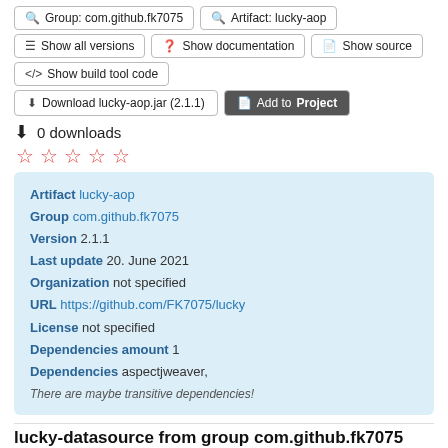Group: com.github.fk7075
Artifact: lucky-aop
Show all versions
Show documentation
Show source
Show build tool code
Download lucky-aop.jar (2.1.1)
Add to Project
0 downloads
[Figure (other): Five empty red star rating icons]
| Artifact | lucky-aop |
| Group | com.github.fk7075 |
| Version | 2.1.1 |
| Last update | 20. June 2021 |
| Organization | not specified |
| URL | https://github.com/FK7075/lucky |
| License | not specified |
| Dependencies amount | 1 |
| Dependencies | aspectjweaver, |
|  | There are maybe transitive dependencies! |
lucky-datasource from group com.github.fk7075 (version 2.1.1)